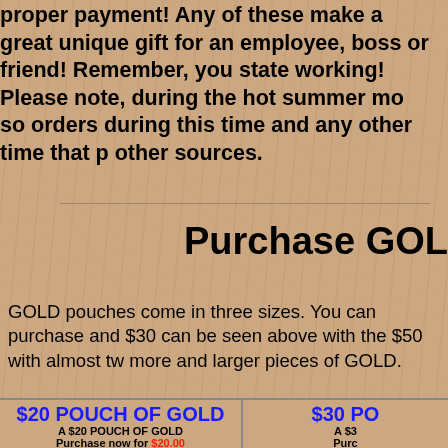proper payment! Any of these make a great unique gift for an employee, boss or friend! Remember, you state working! Please note, during the hot summer so orders during this time and any other time that p other sources.
Purchase GOL
GOLD pouches come in three sizes. You can purchase and $30 can be seen above with the $50 with almost tw more and larger pieces of GOLD.
$20 POUCH OF GOLD
A $20 POUCH OF GOLD
Purchase now for $20.00
$30 PO
A $3
Purc